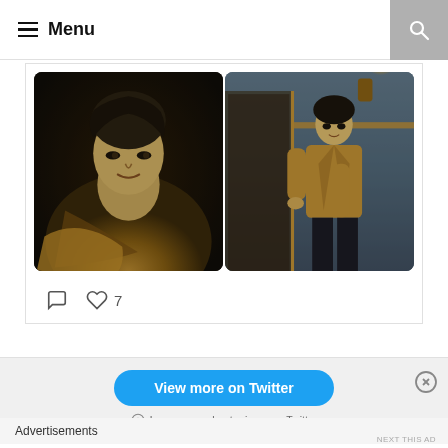Menu
[Figure (photo): Two side-by-side photos of a young man in a tan/caramel jacket. Left photo: close-up portrait. Right photo: full body shot by a door.]
♡ 7
View more on Twitter
Learn more about privacy on Twitter
Advertisements